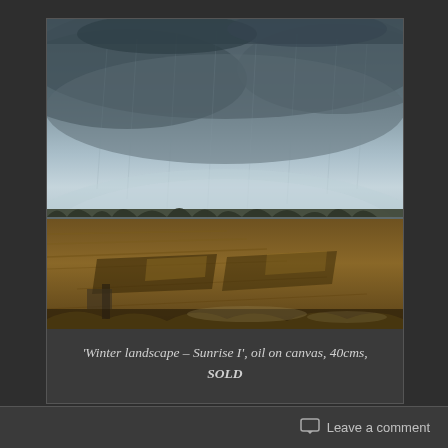[Figure (illustration): Oil painting of a winter landscape titled 'Winter landscape – Sunrise I'. Shows a wide flat rural scene with golden-brown fields in the foreground and dark silhouetted trees and hills on the horizon. The sky dominates the upper two-thirds, filled with dramatic stormy grey-blue clouds with light breaking through near the horizon.]
'Winter landscape – Sunrise I', oil on canvas, 40cms, SOLD
Leave a comment